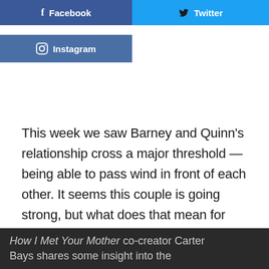[Figure (other): Facebook share button (dark blue)]
[Figure (other): Twitter share button (light blue)]
[Figure (other): Instagram follow button (medium blue)]
This week we saw Barney and Quinn's relationship cross a major threshold — being able to pass wind in front of each other. It seems this couple is going strong, but what does that mean for Barney and Robin? Meanwhile, how will Ted and Robin's friendship change with her recent rejection of his love?
How I Met Your Mother co-creator Carter Bays shares some insight into the